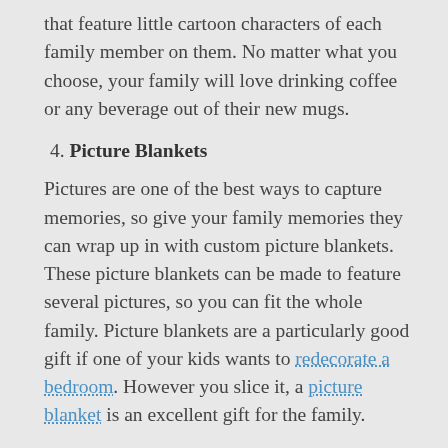that feature little cartoon characters of each family member on them. No matter what you choose, your family will love drinking coffee or any beverage out of their new mugs.
4. Picture Blankets
Pictures are one of the best ways to capture memories, so give your family memories they can wrap up in with custom picture blankets. These picture blankets can be made to feature several pictures, so you can fit the whole family. Picture blankets are a particularly good gift if one of your kids wants to redecorate a bedroom. However you slice it, a picture blanket is an excellent gift for the family.
5. Family Constellation Map